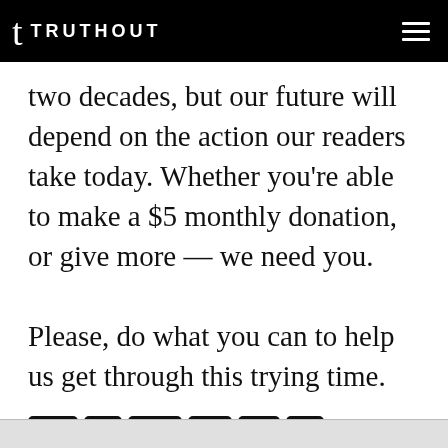TRUTHOUT
two decades, but our future will depend on the action our readers take today. Whether you're able to make a $5 monthly donation, or give more — we need you.

Please, do what you can to help us get through this trying time.
[Figure (other): Payment method icons: VISA, Mastercard, PayPal, American Express, generic card, bank/institution]
[Figure (other): Red donate button with white text reading DONATE NOW]